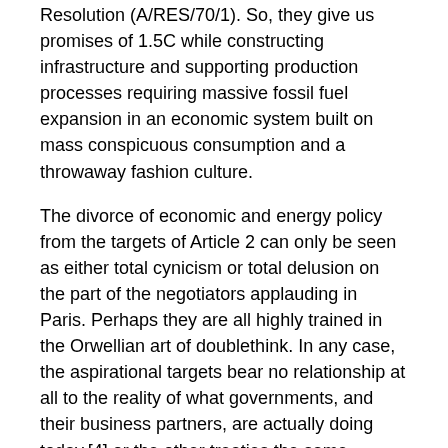Resolution (A/RES/70/1). So, they give us promises of 1.5C while constructing infrastructure and supporting production processes requiring massive fossil fuel expansion in an economic system built on mass conspicuous consumption and a throwaway fashion culture.
The divorce of economic and energy policy from the targets of Article 2 can only be seen as either total cynicism or total delusion on the part of the negotiators applauding in Paris. Perhaps they are all highly trained in the Orwellian art of doublethink. In any case, the aspirational targets bear no relationship at all to the reality of what governments, and their business partners, are actually doing today,[4] or the other treaties the same governments are simultaneously signing. The economic system is already committed to continue exploiting resources as fast as possible in the race for ever-increasing material and energy throughput. Just look at the European Community's Horizon 20:20 goals and their promotion of growth and competition and the ongoing push for the Transatlantic Trade and Investment Partnership. Apparently, economic growth is the priority to be protected and promoted above all else.
The contradiction at the heart of the Paris Agreement is actually unsurprising because the powerful lobbying for growth as the solution to climate change has for some time been orchestrated by corporate business and financiers using the rhetoric of a green economy. As I